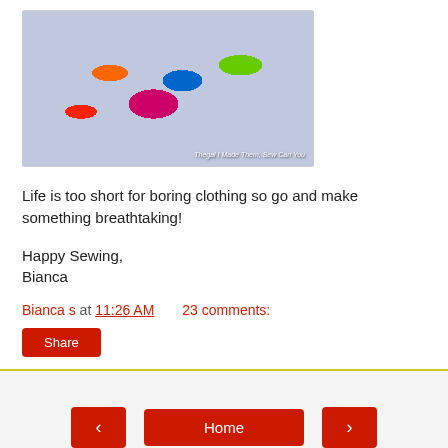[Figure (photo): Photo of a colorful floral fabric skirt/clothing item with dark navy background and bright flowers in orange, blue, green, red. Watermark text reads 'Thegal I Made Them, Sew Can You']
Life is too short for boring clothing so go and make something breathtaking!
Happy Sewing,
Bianca
Bianca s at 11:26 AM    23 comments:
Share
Home
View web version
Powered by Blogger.